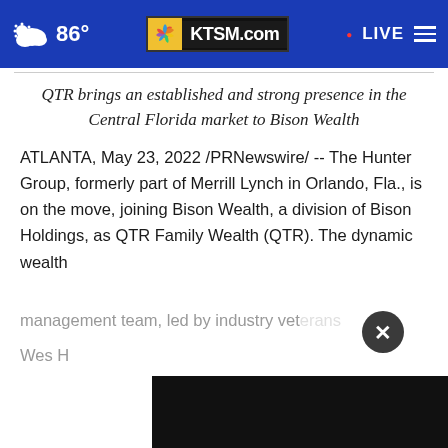86° KTSM.com LIVE
QTR brings an established and strong presence in the Central Florida market to Bison Wealth
ATLANTA, May 23, 2022 /PRNewswire/ -- The Hunter Group, formerly part of Merrill Lynch in Orlando, Fla., is on the move, joining Bison Wealth, a division of Bison Holdings, as QTR Family Wealth (QTR). The dynamic wealth management team, led by industry veterans Wes H[obscured]